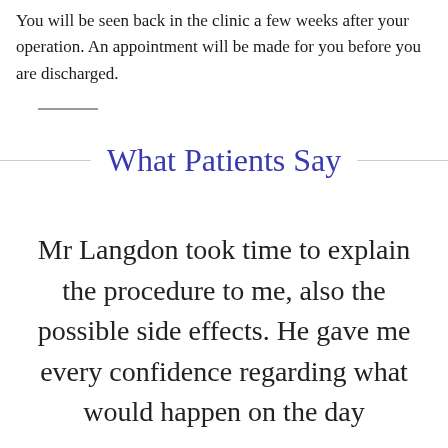You will be seen back in the clinic a few weeks after your operation. An appointment will be made for you before you are discharged.
What Patients Say
Mr Langdon took time to explain the procedure to me, also the possible side effects. He gave me every confidence regarding what would happen on the day